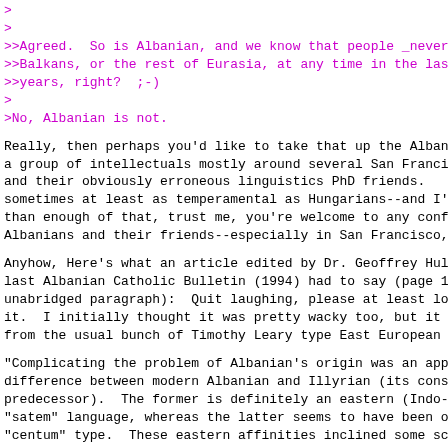>
>
>>Agreed.  So is Albanian, and we know that people _never_
>>Balkans, or the rest of Eurasia, at any time in the last
>>years, right?  ;-)
>
>No, Albanian is not.
Really, then perhaps you'd like to take that up the Albania
a group of intellectuals mostly around several San Francisc
and their obviously erroneous linguistics PhD friends.   As
sometimes at least as temperamental as Hungarians--and I've
than enough of that, trust me, you're welcome to any confro
Albanians and their friends--especially in San Francisco, t
Anyhow, Here's what an article edited by Dr. Geoffrey Hull
last Albanian Catholic Bulletin (1994) had to say (page 163
unabridged paragraph):  Quit laughing, please at least long
it.  I initially thought it was pretty wacky too, but it di
from the usual bunch of Timothy Leary type East European na
"Complicating the problem of Albanian's origin was an appar
difference between modern Albanian and Illyrian (its consen
predecessor).  The former is definitely an eastern (Indo-Eu
"satem" language, whereas the latter seems to have been of
"centum" type.  These eastern affinities inclined some scho
Tagliavini, Gustav Weigand and Henrik Baric to seek the ori
in the language of the Thracians, another Indo-European peo
ancient Moesia (the territory of modern Serbia, Macedonia a
Finally a compromise theory suggested that the Albanian lan
forme din a region, probably Dardania (modern Serbia) where
Thracian languages converged.  According to the Austrian Al